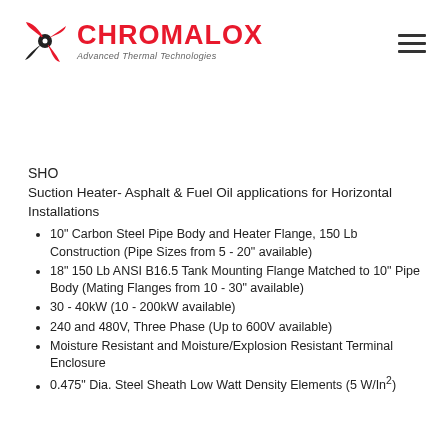[Figure (logo): Chromalox logo with red gear/fan icon, red bold CHROMALOX text, and italic tagline 'Advanced Thermal Technologies']
SHO
Suction Heater- Asphalt & Fuel Oil applications for Horizontal Installations
10" Carbon Steel Pipe Body and Heater Flange, 150 Lb Construction (Pipe Sizes from 5 - 20" available)
18" 150 Lb ANSI B16.5 Tank Mounting Flange Matched to 10" Pipe Body (Mating Flanges from 10 - 30" available)
30 - 40kW (10 - 200kW available)
240 and 480V, Three Phase (Up to 600V available)
Moisture Resistant and Moisture/Explosion Resistant Terminal Enclosure
0.475" Dia. Steel Sheath Low Watt Density Elements (5 W/In²)